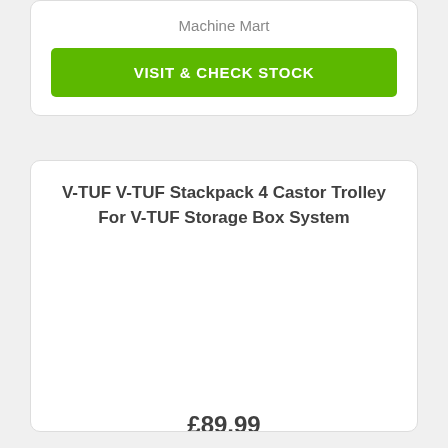Machine Mart
VISIT & CHECK STOCK
V-TUF V-TUF Stackpack 4 Castor Trolley For V-TUF Storage Box System
£89.99